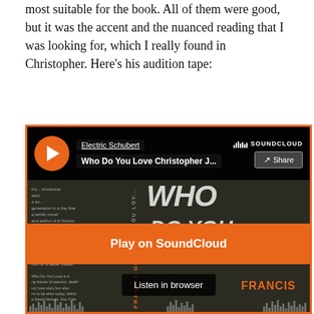most suitable for the book. All of them were good, but it was the accent and the nuanced reading that I was looking for, which I really found in Christopher. Here's his audition tape:
[Figure (screenshot): SoundCloud embedded player screenshot showing 'Who Do You Love Christopher J...' by Electric Schubert, with orange Play on SoundCloud button and Listen in browser option overlaid on a book cover background for 'Who Do You Love' by Francis Gilbert]